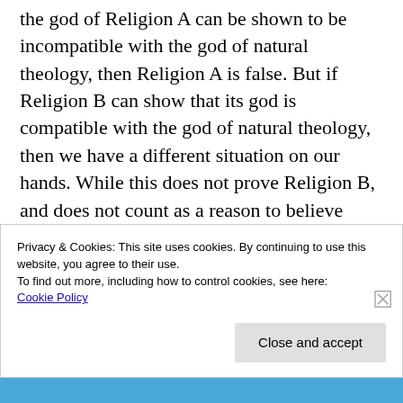the god of Religion A can be shown to be incompatible with the god of natural theology, then Religion A is false. But if Religion B can show that its god is compatible with the god of natural theology, then we have a different situation on our hands. While this does not prove Religion B, and does not count as a reason to believe Religion B, it at least shows that Religion B is not absurd on its face (that is, that Religion B does not commit one to beliefs about god that are known by natural reason to
Privacy & Cookies: This site uses cookies. By continuing to use this website, you agree to their use.
To find out more, including how to control cookies, see here:
Cookie Policy
Close and accept